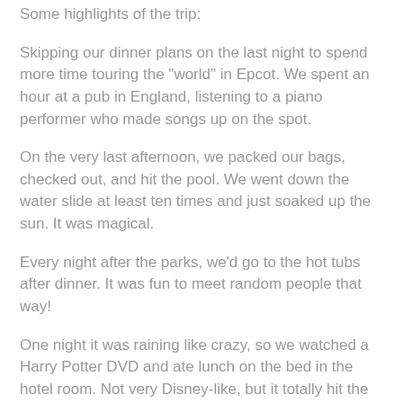Some highlights of the trip:
Skipping our dinner plans on the last night to spend more time touring the "world" in Epcot. We spent an hour at a pub in England, listening to a piano performer who made songs up on the spot.
On the very last afternoon, we packed our bags, checked out, and hit the pool. We went down the water slide at least ten times and just soaked up the sun. It was magical.
Every night after the parks, we'd go to the hot tubs after dinner. It was fun to meet random people that way!
One night it was raining like crazy, so we watched a Harry Potter DVD and ate lunch on the bed in the hotel room. Not very Disney-like, but it totally hit the spot:)
What's YOUR favorite vacation memory?
And on the topic of fairy-tale, magical adventures, anyone else tune in to the Royal Wedding this past weekend?